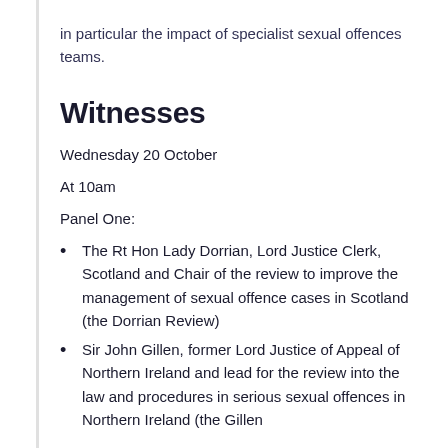in particular the impact of specialist sexual offences teams.
Witnesses
Wednesday 20 October
At 10am
Panel One:
The Rt Hon Lady Dorrian, Lord Justice Clerk, Scotland and Chair of the review to improve the management of sexual offence cases in Scotland (the Dorrian Review)
Sir John Gillen, former Lord Justice of Appeal of Northern Ireland and lead for the review into the law and procedures in serious sexual offences in Northern Ireland (the Gillen